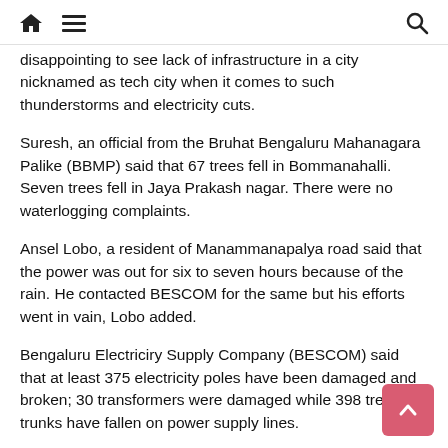home menu search
disappointing to see lack of infrastructure in a city nicknamed as tech city when it comes to such thunderstorms and electricity cuts.
Suresh, an official from the Bruhat Bengaluru Mahanagara Palike (BBMP) said that 67 trees fell in Bommanahalli. Seven trees fell in Jaya Prakash nagar. There were no waterlogging complaints.
Ansel Lobo, a resident of Manammanapalya road said that the power was out for six to seven hours because of the rain. He contacted BESCOM for the same but his efforts went in vain, Lobo added.
Bengaluru Electriciry Supply Company (BESCOM) said that at least 375 electricity poles have been damaged and broken; 30 transformers were damaged while 398 tree trunks have fallen on power supply lines.